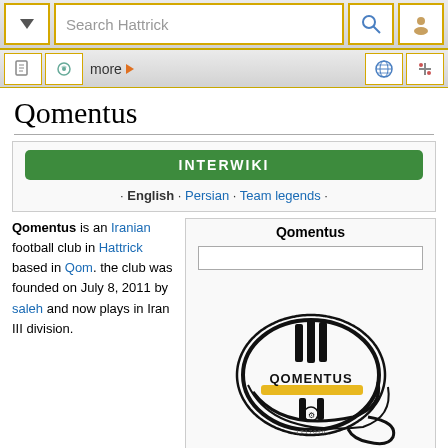Search Hattrick
Qomentus
INTERWIKI · English · Persian · Team legends ·
Qomentus is an Iranian football club in Hattrick based in Qom. the club was founded on July 8, 2011 by saleh and now plays in Iran III division.
[Figure (logo): Qomentus football club logo — black oval badge with vertical stripes, text QOMENTUS, yellow horizontal stripe, and decorative elements]